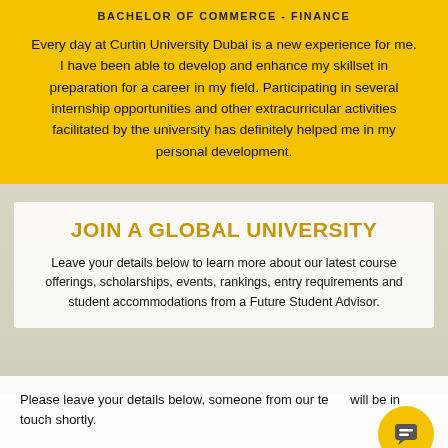BACHELOR OF COMMERCE - FINANCE
Every day at Curtin University Dubai is a new experience for me. I have been able to develop and enhance my skillset in preparation for a career in my field. Participating in several internship opportunities and other extracurricular activities facilitated by the university has definitely helped me in my personal development.
JOIN A GLOBAL UNIVERSITY
Leave your details below to learn more about our latest course offerings, scholarships, events, rankings, entry requirements and student accommodations from a Future Student Advisor.
Please leave your details below, someone from our team will be in touch shortly.